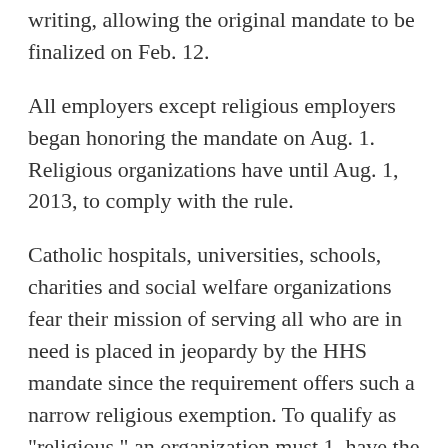writing, allowing the original mandate to be finalized on Feb. 12.
All employers except religious employers began honoring the mandate on Aug. 1. Religious organizations have until Aug. 1, 2013, to comply with the rule.
Catholic hospitals, universities, schools, charities and social welfare organizations fear their mission of serving all who are in need is placed in jeopardy by the HHS mandate since the requirement offers such a narrow religious exemption. To qualify as "religious," an organization must 1. have the inculcation or teaching of religious values as its purpose; 2. primarily employ persons who share its religious tenets; 3. primarily serve